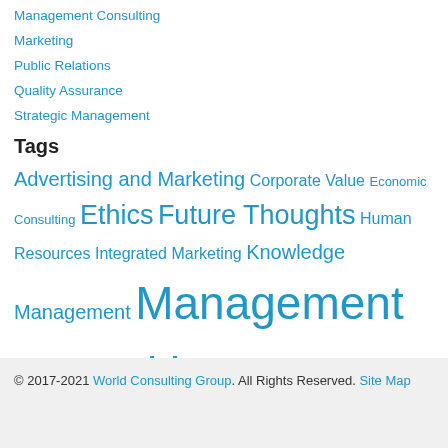Management Consulting
Marketing
Public Relations
Quality Assurance
Strategic Management
Tags
Advertising and Marketing Corporate Value Economic Consulting Ethics Future Thoughts Human Resources Integrated Marketing Knowledge Management Management Consulting Management Consulting Psychology Marketing Market Segmentation Negotiation Public Relations Strategic Vision Total Quality Management
© 2017-2021 World Consulting Group. All Rights Reserved. Site Map